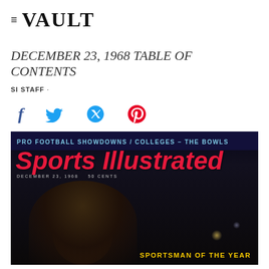≡ VAULT
DECEMBER 23, 1968 TABLE OF CONTENTS
SI STAFF ·
[Figure (illustration): Social sharing icons: Facebook (f), Twitter (bird), Pinterest (P)]
[Figure (photo): Sports Illustrated magazine cover from December 23, 1968. Top bar reads: PRO FOOTBALL SHOWDOWNS / COLLEGES – THE BOWLS. The Sports Illustrated logo appears in large pink/red italic text. Date and price: DECEMBER 23, 1968  50 CENTS. The cover shows a person (Sportsman of the Year) in dark lighting. Bottom right text reads: SPORTSMAN OF THE YEAR]